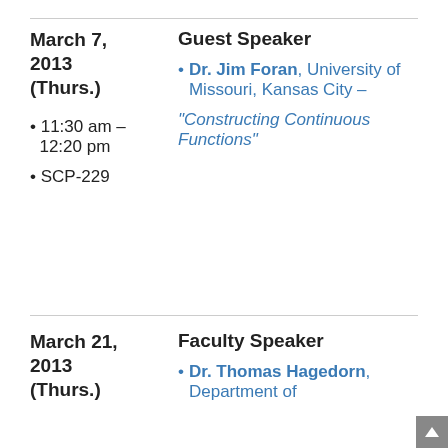March 7, 2013 (Thurs.)
Guest Speaker
Dr. Jim Foran, University of Missouri, Kansas City –
“Constructing Continuous Functions”
11:30 am – 12:20 pm
SCP-229
March 21, 2013 (Thurs.)
Faculty Speaker
Dr. Thomas Hagedorn, Department of